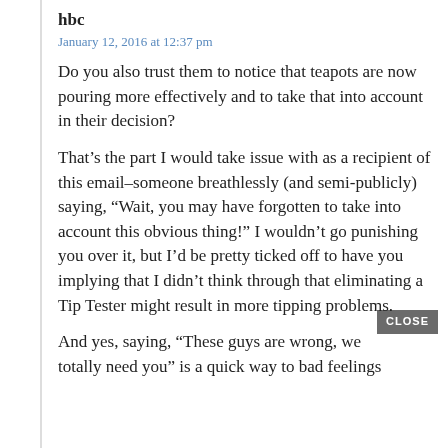hbc
January 12, 2016 at 12:37 pm
Do you also trust them to notice that teapots are now pouring more effectively and to take that into account in their decision?
That’s the part I would take issue with as a recipient of this email–someone breathlessly (and semi-publicly) saying, “Wait, you may have forgotten to take into account this obvious thing!” I wouldn’t go punishing you over it, but I’d be pretty ticked off to have you implying that I didn’t think through that eliminating a Tip Tester might result in more tipping problems.
And yes, saying, “These guys are wrong, we totally need you” is a quick way to bad feelings